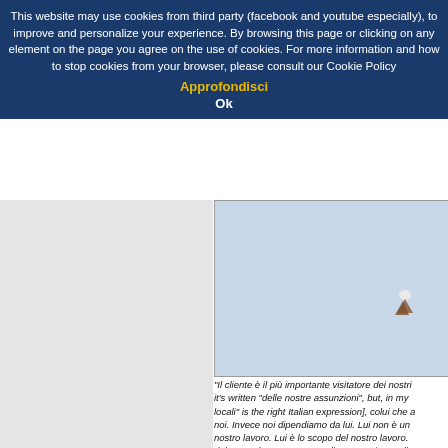This website may use cookies from third party (facebook and youtube especially), to improve and personalize your experience. By browsing this page or clicking on any element on the page you agree on the use of cookies. For more information and how to stop cookies from your browser, please consult our Cookie Policy Approfondisci Ok
[Figure (photo): A light blue sky background with a small dark figure (appears to be a small bird or insect) visible in the upper right area of the image.]
"Il cliente è il più importante visitatore dei nostri... it's written "delle nostre assunzioni", but, in my... locali" is the right Italian expression], colui che a... noi. Invece noi dipendiamo da lui. Lui non è un... nostro lavoro. Lui è lo scopo del nostro lavoro.... del nostro lavoro. Fa parte di esso. Noi non gli... sevendolo. Lui ci fa un favore dandoci l'opportu...
Which in the original English version is this:
"A customer is the most important visitor on our...